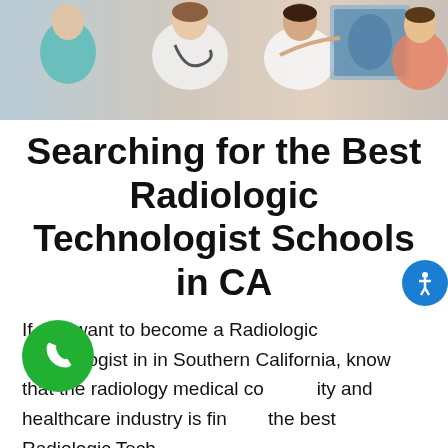[Figure (photo): Medical professionals in white coats examining an X-ray, with a stethoscope visible, group of healthcare workers]
Searching for the Best Radiologic Technologist Schools in CA
If you want to become a Radiologic Technologist in in Southern California, know that the radiology medical community and healthcare industry is finding the best Radiologic Tech